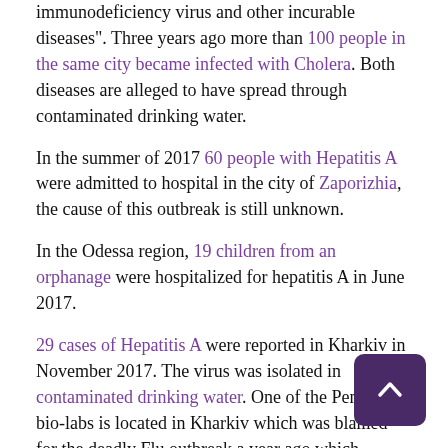immunodeficiency virus and other incurable diseases". Three years ago more than 100 people in the same city became infected with Cholera. Both diseases are alleged to have spread through contaminated drinking water.
In the summer of 2017 60 people with Hepatitis A were admitted to hospital in the city of Zaporizhia, the cause of this outbreak is still unknown.
In the Odessa region, 19 children from an orphanage were hospitalized for hepatitis A in June 2017.
29 cases of Hepatitis A were reported in Kharkiv in November 2017. The virus was isolated in contaminated drinking water. One of the Pentagon bio-labs is located in Kharkiv which was blamed for the deadly Flu outbreak a year ago which claimed the lives of 364 Ukrainians.
Ukraine and Russia hit by new highly virulent cholera infection